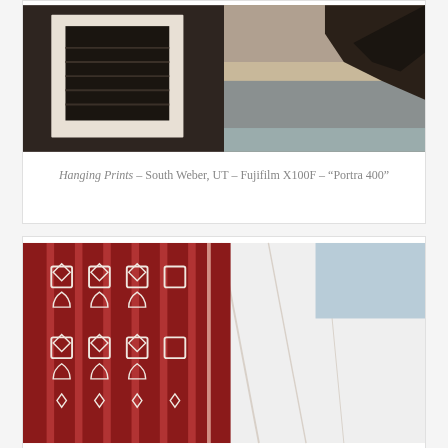[Figure (photo): Sepia-toned photograph showing framed black and white prints hanging on a dark wall, with rocky coastal landscape visible]
Hanging Prints – South Weber, UT – Fujifilm X100F – "Portra 400"
[Figure (photo): Close-up photograph of a dark red and white patterned textile/blanket with geometric Aztec-style design, next to white fabric]